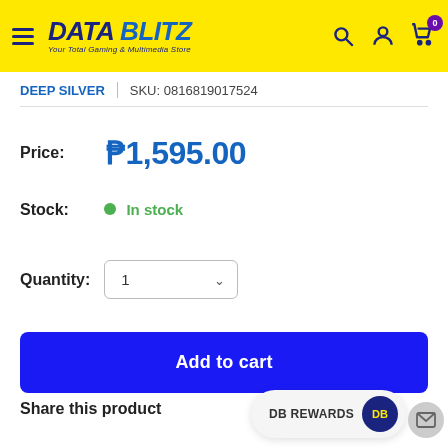[Figure (logo): Data Blitz logo - Your Total Gaming & Multimedia Store, on yellow header background with hamburger menu, search, user, and cart icons]
DEEP SILVER  |  SKU: 0816819017524
Price:  ₱1,595.00
Stock:  ● In stock
Quantity:  1 ▾
Add to cart
Share this product
DB REWARDS